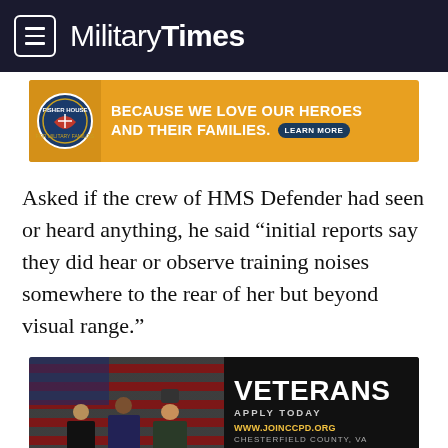Military Times
[Figure (photo): Fisher House Foundation advertisement banner: yellow/gold background, Fisher House logo on the left, text 'BECAUSE WE LOVE OUR HEROES AND THEIR FAMILIES.' with a 'LEARN MORE' button]
Asked if the crew of HMS Defender had seen or heard anything, he said “initial reports say they did hear or observe training noises somewhere to the rear of her but beyond visual range.”
[Figure (photo): Advertisement for Chesterfield County Police Department recruiting veterans. Dark background with American flag, three police officers/professionals, text 'VETERANS APPLY TODAY WWW.JOINCCPD.ORG CHESTERFIELD COUNTY, VA']